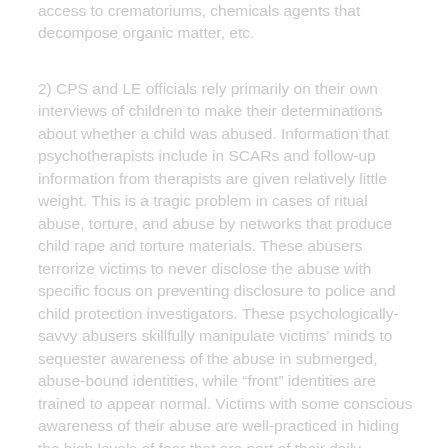access to crematoriums, chemicals agents that decompose organic matter, etc.
2) CPS and LE officials rely primarily on their own interviews of children to make their determinations about whether a child was abused. Information that psychotherapists include in SCARs and follow-up information from therapists are given relatively little weight. This is a tragic problem in cases of ritual abuse, torture, and abuse by networks that produce child rape and torture materials. These abusers terrorize victims to never disclose the abuse with specific focus on preventing disclosure to police and child protection investigators. These psychologically-savvy abusers skillfully manipulate victims' minds to sequester awareness of the abuse in submerged, abuse-bound identities, while “front” identities are trained to appear normal. Victims with some conscious awareness of their abuse are well-practiced in hiding the high levels of fear that are part of their daily existence. I